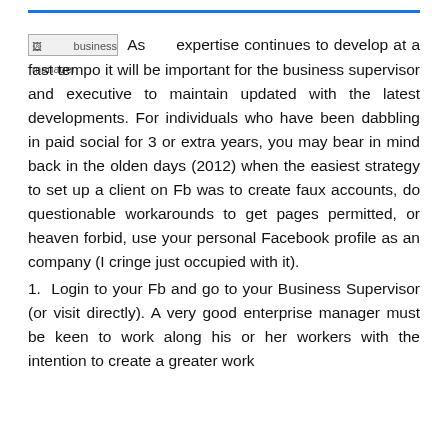[Figure (other): Small image placeholder labeled 'business manager']
As expertise continues to develop at a fast tempo it will be important for the business supervisor and executive to maintain updated with the latest developments. For individuals who have been dabbling in paid social for 3 or extra years, you may bear in mind back in the olden days (2012) when the easiest strategy to set up a client on Fb was to create faux accounts, do questionable workarounds to get pages permitted, or heaven forbid, use your personal Facebook profile as an company (I cringe just occupied with it).
1. Login to your Fb and go to your Business Supervisor (or visit directly). A very good enterprise manager must be keen to work along his or her workers with the intention to create a greater work